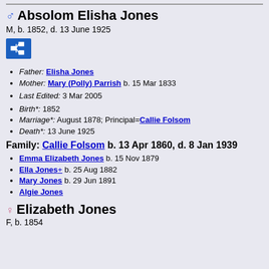♂ Absolom Elisha Jones
M, b. 1852, d. 13 June 1925
[Figure (other): Pedigree/family tree icon button (blue background)]
Father: Elisha Jones
Mother: Mary (Polly) Parrish b. 15 Mar 1833
Last Edited: 3 Mar 2005
Birth*: 1852
Marriage*: August 1878; Principal=Callie Folsom
Death*: 13 June 1925
Family: Callie Folsom b. 13 Apr 1860, d. 8 Jan 1939
Emma Elizabeth Jones b. 15 Nov 1879
Ella Jones+ b. 25 Aug 1882
Mary Jones b. 29 Jun 1891
Algie Jones
♀ Elizabeth Jones
F, b. 1854